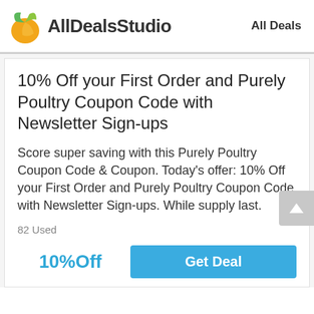AllDealsStudio   All Deals
10% Off your First Order and Purely Poultry Coupon Code with Newsletter Sign-ups
Score super saving with this Purely Poultry Coupon Code & Coupon. Today's offer: 10% Off your First Order and Purely Poultry Coupon Code with Newsletter Sign-ups. While supply last.
82 Used
10%Off
Get Deal